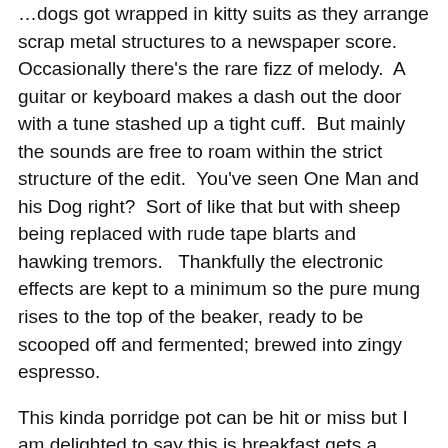…dogs got wrapped in kitty suits as they arrange scrap metal structures to a newspaper score. Occasionally there's the rare fizz of melody. A guitar or keyboard makes a dash out the door with a tune stashed up a tight cuff. But mainly the sounds are free to roam within the strict structure of the edit. You've seen One Man and his Dog right? Sort of like that but with sheep being replaced with rude tape blarts and hawking tremors. Thankfully the electronic effects are kept to a minimum so the pure mung rises to the top of the beaker, ready to be scooped off and fermented; brewed into zingy espresso.
This kinda porridge pot can be hit or miss but I am delighted to say this is breakfast gets a Goldilocks 'just right' from me.
The Zoro Man set their dune buggy down a smoother, less…